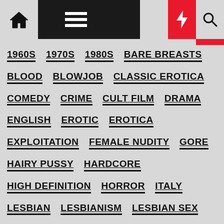Navigation header with home, menu, moon, bolt, and search icons
1960S
1970S
1980S
BARE BREASTS
BLOOD
BLOWJOB
CLASSIC EROTICA
COMEDY
CRIME
CULT FILM
DRAMA
ENGLISH
EROTIC
EROTICA
EXPLOITATION
FEMALE NUDITY
GORE
HAIRY PUSSY
HARDCORE
HIGH DEFINITION
HORROR
ITALY
LESBIAN
LESBIANISM
LESBIAN SEX
MASTURBATION
MURDER
NIPPLES
NUDITY
ORAL SEX
PSYCHOTRONIC
PUBIC HAIR
RAPE
SEX
SEXPLOITATION
SOFTCORE
THREESOME
THRILLER
USA
VINTAGE
VINTAGE EROTICA
VINTAGE PORN
VINTAGE SEX
VIOLENCE
VOYEUR